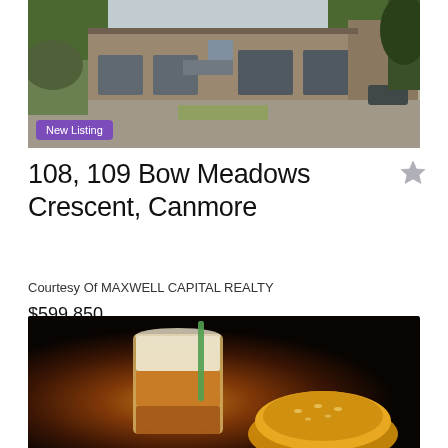[Figure (photo): Exterior photo of commercial/industrial building with large parking area, garages and brown facades, trees in background. 'New Listing' badge in purple at bottom left.]
108, 109 Bow Meadows Crescent, Canmore
Courtesy Of MAXWELL CAPITAL REALTY
$599,850
MLS• # A1251247
[Figure (photo): Dark atmospheric photo of a coffee drink in a clear plastic cup and a pastry/bun, against a dark brown/black background.]